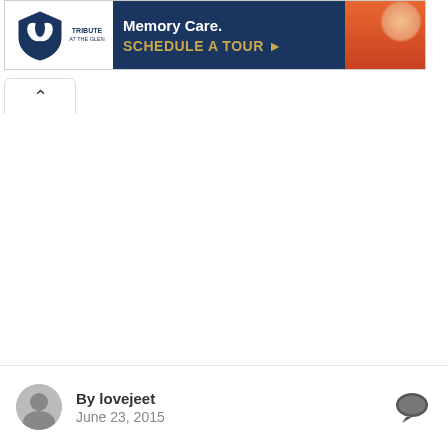[Figure (screenshot): Advertisement banner for Tribute at the Glen Memory Care with logo on left, dark blue background with text 'Memory Care. SCHEDULE A TOUR ▶' and a photo of a person in red clothing on the right.]
[Figure (screenshot): Back/up arrow navigation button (chevron up symbol) in a white rounded tab shape.]
By lovejeet
June 23, 2015